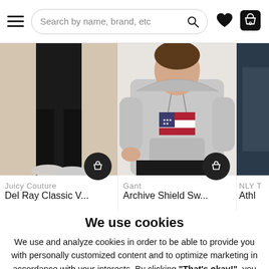Search by name, brand, etc
[Figure (photo): Product photo of black wide-leg pants (Juicy Couture Del Ray Classic V...) with a shopping cart button overlay]
[Figure (photo): Product photo of a woman wearing a grey hoodie (Gant Archive Shield Sw...) with a shopping cart button overlay]
[Figure (photo): Partially visible product photo (NLY T - Athl...) cropped at right edge]
Juicy Couture
Del Ray Classic V...
Gant
Archive Shield Sw...
NLY T
Athl
We use cookies
We use and analyze cookies in order to be able to provide you with personally customized content and to optimize marketing in accordance with your interests. By clicking "That's okay!", you approve our use of cookies.